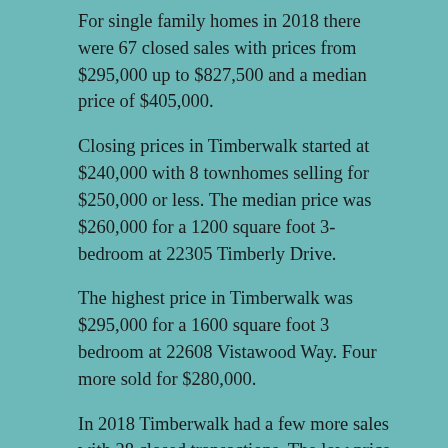For single family homes in 2018 there were 67 closed sales with prices from $295,000 up to $827,500 and a median price of $405,000.
Closing prices in Timberwalk started at $240,000 with 8 townhomes selling for $250,000 or less. The median price was $260,000 for a 1200 square foot 3-bedroom at 22305 Timberly Drive.
The highest price in Timberwalk was $295,000 for a 1600 square foot 3 bedroom at 22608 Vistawood Way. Four more sold for $280,000.
In 2018 Timberwalk had a few more sales with 28 closed transactions. The low price that year was much lower at $205,000, and 21 of the 28 transactions were at $250,000 or less. The highest price in 2018 was $255,000 and the